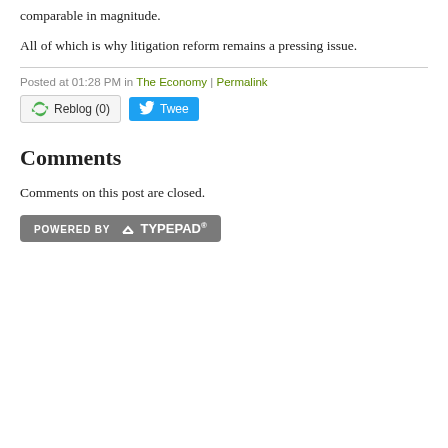comparable in magnitude.
All of which is why litigation reform remains a pressing issue.
Posted at 01:28 PM in The Economy | Permalink
[Figure (other): Reblog (0) button and Tweet button]
Comments
Comments on this post are closed.
[Figure (logo): Powered by TypePad badge]